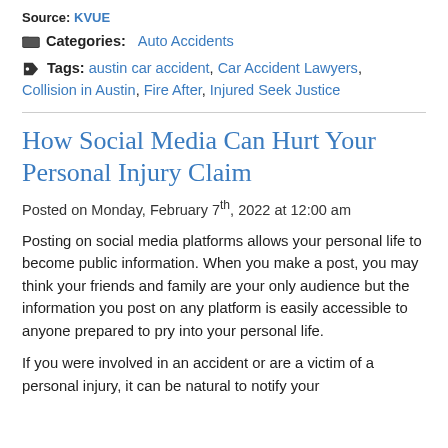Source: KVUE
Categories: Auto Accidents
Tags: austin car accident, Car Accident Lawyers, Collision in Austin, Fire After, Injured Seek Justice
How Social Media Can Hurt Your Personal Injury Claim
Posted on Monday, February 7th, 2022 at 12:00 am
Posting on social media platforms allows your personal life to become public information. When you make a post, you may think your friends and family are your only audience but the information you post on any platform is easily accessible to anyone prepared to pry into your personal life.
If you were involved in an accident or are a victim of a personal injury, it can be natural to notify your